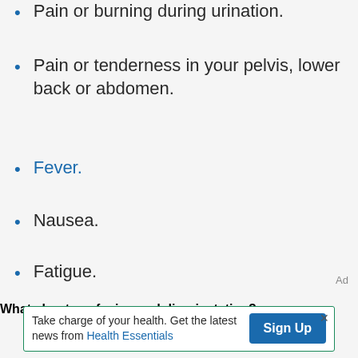Pain or burning during urination.
Pain or tenderness in your pelvis, lower back or abdomen.
Fever.
Nausea.
Fatigue.
What about confusion and disorientation?
Ad
Take charge of your health. Get the latest news from Health Essentials  Sign Up